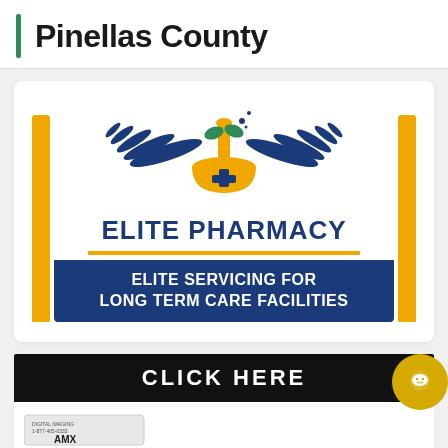Pinellas County
[Figure (logo): Elite Pharmacy logo with winged mortar and pestle in gold and navy blue, text 'ELITE PHARMACY' and banner 'ELITE SERVICING FOR LONG TERM CARE FACILITIES']
[Figure (other): Black bar with white bold text 'CLICK HERE' and gold circular chat icon, plus bottom strip with AMX card image]